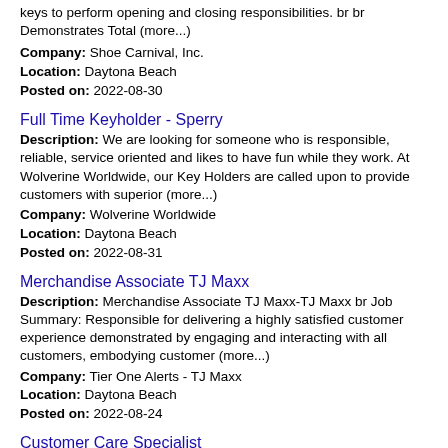keys to perform opening and closing responsibilities. br br Demonstrates Total (more...)
Company: Shoe Carnival, Inc.
Location: Daytona Beach
Posted on: 2022-08-30
Full Time Keyholder - Sperry
Description: We are looking for someone who is responsible, reliable, service oriented and likes to have fun while they work. At Wolverine Worldwide, our Key Holders are called upon to provide customers with superior (more...)
Company: Wolverine Worldwide
Location: Daytona Beach
Posted on: 2022-08-31
Merchandise Associate TJ Maxx
Description: Merchandise Associate TJ Maxx-TJ Maxx br Job Summary: Responsible for delivering a highly satisfied customer experience demonstrated by engaging and interacting with all customers, embodying customer (more...)
Company: Tier One Alerts - TJ Maxx
Location: Daytona Beach
Posted on: 2022-08-24
Customer Care Specialist
Description: Job DescriptionPevonia InternationalPevonia is a worldwide leader of professional and consumer skincare products and was the first company to develop a spa skincare line...